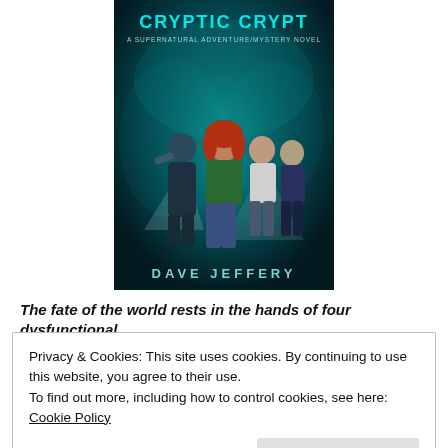[Figure (illustration): Book cover for 'Cryptic Crypt: A Supernatural Adventure/Mystery Novel' by Dave Jeffery. Features four teenage characters on a dark teal/blue background with supernatural swirling mist. Title in large stylized text at top, subtitle below, author name at bottom.]
The fate of the world rests in the hands of four dysfunctional
Privacy & Cookies: This site uses cookies. By continuing to use this website, you agree to their use.
To find out more, including how to control cookies, see here: Cookie Policy